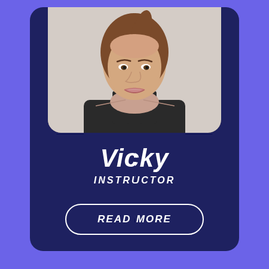[Figure (photo): Portrait photo of Vicky, a fitness instructor with brown hair pulled back, wearing a black sleeveless athletic top, shown from chest up against a light grey background.]
Vicky
INSTRUCTOR
READ MORE